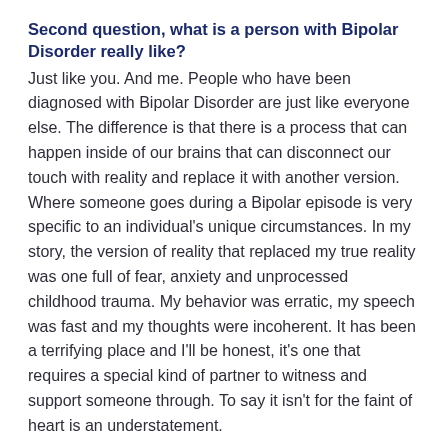Second question, what is a person with Bipolar Disorder really like?
Just like you. And me. People who have been diagnosed with Bipolar Disorder are just like everyone else. The difference is that there is a process that can happen inside of our brains that can disconnect our touch with reality and replace it with another version. Where someone goes during a Bipolar episode is very specific to an individual's unique circumstances. In my story, the version of reality that replaced my true reality was one full of fear, anxiety and unprocessed childhood trauma. My behavior was erratic, my speech was fast and my thoughts were incoherent. It has been a terrifying place and I'll be honest, it's one that requires a special kind of partner to witness and support someone through. To say it isn't for the faint of heart is an understatement.
It requires love, commitment, empathy and a